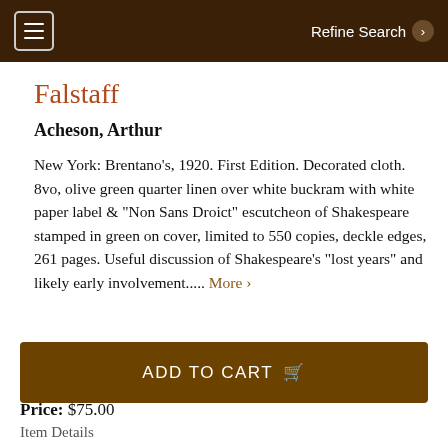Refine Search
Falstaff
Acheson, Arthur
New York: Brentano's, 1920. First Edition. Decorated cloth. 8vo, olive green quarter linen over white buckram with white paper label & "Non Sans Droict" escutcheon of Shakespeare stamped in green on cover, limited to 550 copies, deckle edges, 261 pages. Useful discussion of Shakespeare's "lost years" and likely early involvement..... More ›
ADD TO CART
Price: $75.00
Item Details
Ask a Question